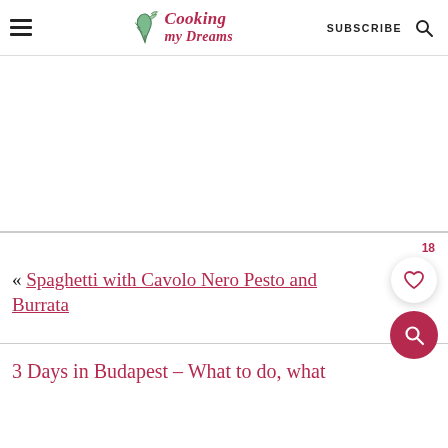Cooking my Dreams — SUBSCRIBE
[Figure (other): Advertisement / blank ad area]
« Spaghetti with Cavolo Nero Pesto and Burrata
3 Days in Budapest – What to do, what